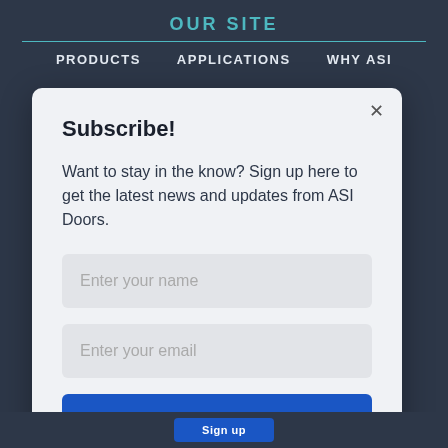OUR SITE
PRODUCTS   APPLICATIONS   WHY ASI
Subscribe!
Want to stay in the know? Sign up here to get the latest news and updates from ASI Doors.
[Figure (screenshot): Text input field with placeholder 'Enter your name']
[Figure (screenshot): Text input field with placeholder 'Enter your email']
Sign up